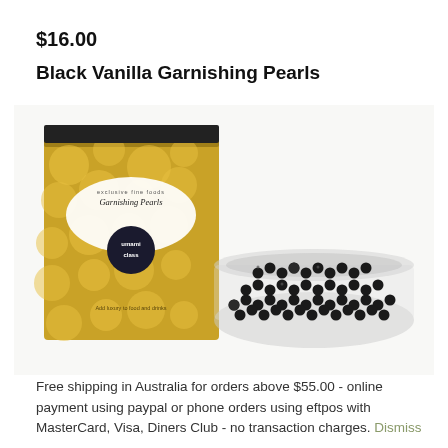$16.00
Black Vanilla Garnishing Pearls
[Figure (photo): Product photo showing a gold-patterned box of Garnishing Pearls next to a clear container filled with small black pearls/caviar-like balls on a white background.]
Free shipping in Australia for orders above $55.00 - online payment using paypal or phone orders using eftpos with MasterCard, Visa, Diners Club - no transaction charges. Dismiss